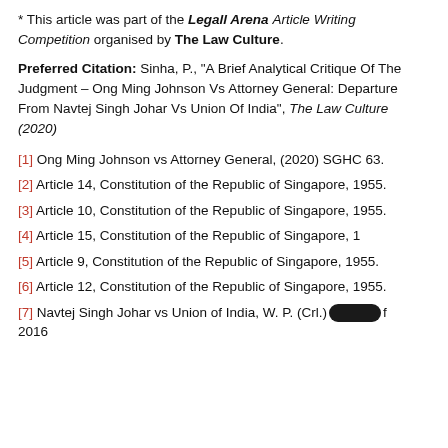* This article was part of the Legall Arena Article Writing Competition organised by The Law Culture.
Preferred Citation: Sinha, P., "A Brief Analytical Critique Of The Judgment – Ong Ming Johnson Vs Attorney General: Departure From Navtej Singh Johar Vs Union Of India", The Law Culture (2020)
[1] Ong Ming Johnson vs Attorney General, (2020) SGHC 63.
[2] Article 14, Constitution of the Republic of Singapore, 1955.
[3] Article 10, Constitution of the Republic of Singapore, 1955.
[4] Article 15, Constitution of the Republic of Singapore, 1955.
[5] Article 9, Constitution of the Republic of Singapore, 1955.
[6] Article 12, Constitution of the Republic of Singapore, 1955.
[7] Navtej Singh Johar vs Union of India, W. P. (Crl.) of 2016